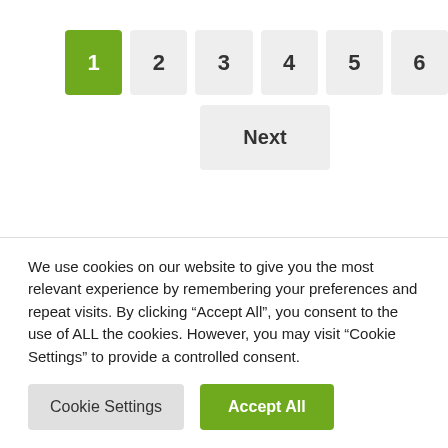[Figure (screenshot): Pagination bar with buttons numbered 1 (active, green), 2, 3, 4, 5, 6, and a Next button below]
PRODUCT CATEGORIES
We use cookies on our website to give you the most relevant experience by remembering your preferences and repeat visits. By clicking “Accept All”, you consent to the use of ALL the cookies. However, you may visit "Cookie Settings" to provide a controlled consent.
Cookie Settings   Accept All